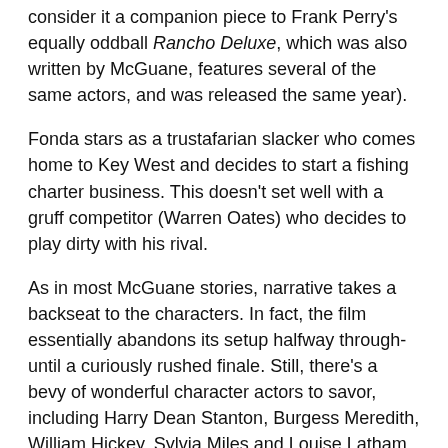consider it a companion piece to Frank Perry's equally oddball Rancho Deluxe, which was also written by McGuane, features several of the same actors, and was released the same year).
Fonda stars as a trustafarian slacker who comes home to Key West and decides to start a fishing charter business. This doesn't set well with a gruff competitor (Warren Oates) who decides to play dirty with his rival.
As in most McGuane stories, narrative takes a backseat to the characters. In fact, the film essentially abandons its setup halfway through-until a curiously rushed finale. Still, there's a bevy of wonderful character actors to savor, including Harry Dean Stanton, Burgess Meredith, William Hickey, Sylvia Miles and Louise Latham.
Also in the cast: Margot Kidder (McGuane's wife at the time) and Elizabeth Ashley (his girlfriend at the time)-which begs speculation as to what was going through his mind as he